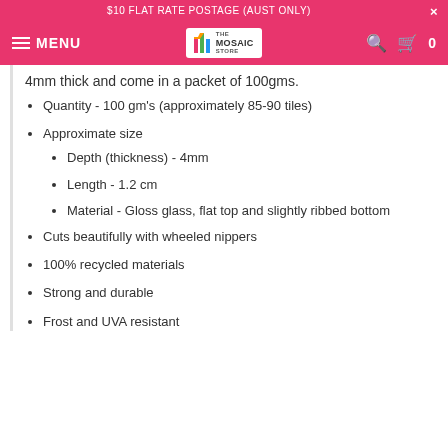$10 FLAT RATE POSTAGE (AUST ONLY)
[Figure (screenshot): Navigation bar with hamburger menu, MENU text, The Mosaic Store logo, search icon, and cart icon with 0 count]
4mm thick and come in a packet of 100gms.
Quantity - 100 gm's (approximately 85-90 tiles)
Approximate size
Depth (thickness) - 4mm
Length - 1.2 cm
Material - Gloss glass, flat top and slightly ribbed bottom
Cuts beautifully with wheeled nippers
100% recycled materials
Strong and durable
Frost and UVA resistant